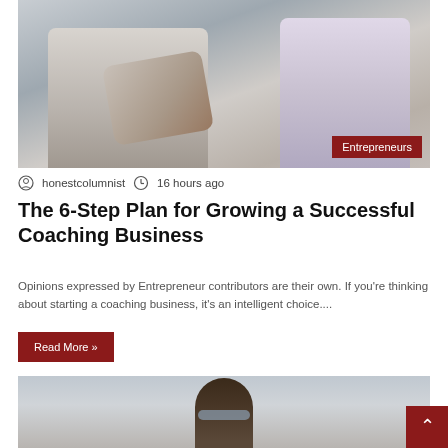[Figure (photo): Two people having a business meeting at a table, one gesturing with hands. Red badge with 'Entrepreneurs' text in bottom-right corner.]
honestcolumnist  16 hours ago
The 6-Step Plan for Growing a Successful Coaching Business
Opinions expressed by Entrepreneur contributors are their own. If you're thinking about starting a coaching business, it's an intelligent choice....
Read More »
[Figure (photo): A man wearing glasses looking upward, with a blurred background.]